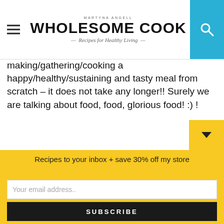MARTYNA ANGELL — WHOLESOME COOK — Recipes for Healthy Living
making/gathering/cooking a happy/healthy/sustaining and tasty meal from scratch – it does not take any longer!! Surely we are talking about food, food, glorious food! :) !
anna — REPLY
© September 19, 2012 at 9:25 pm
Love the new look Martyna! And thanks for sharing that post on props hunting. While I'm not always hunting :), its so nice to be inspired by all these great blogs you're sharing! I love the sound of that quinoa bread. xx
Recipes to your inbox + save 30% off my store
Your email address..
SUBSCRIBE